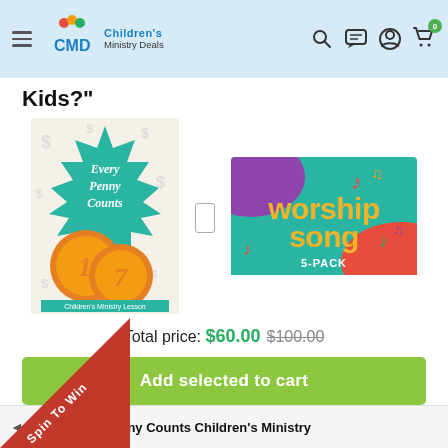Children's Ministry Deals
Kids?"
[Figure (illustration): Product image: Every Penny Counts Children's Ministry Lesson book cover with coins and teal starburst]
[Figure (illustration): Product image: Worship Song 5-Pack with colorful music notes on teal and purple background]
Total price: $60.00  $100.00
Add selected to cart
item: Every Penny Counts Children's Ministry